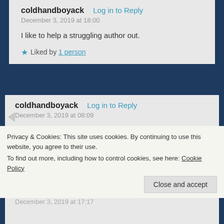coldhandboyack — Log in to Reply
December 3, 2019 at 18:00
I like to help a struggling author out.
★ Liked by 1 person
coldhandboyack — Log in to Reply
December 3, 2019 at 08:09
Thank you, Joan. What a nice thing to find this morning, and glad you enjoyed the story. I'll share this everywhere.
Privacy & Cookies: This site uses cookies. By continuing to use this website, you agree to their use.
To find out more, including how to control cookies, see here: Cookie Policy
Close and accept
December 3, 2019 at 17:17